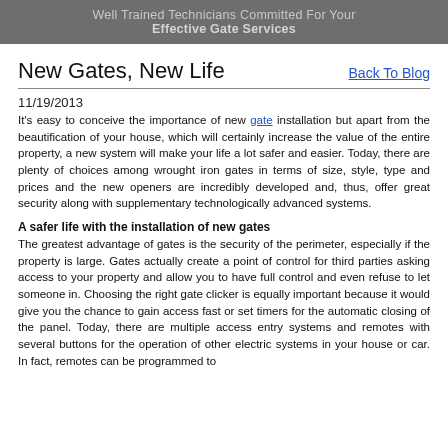Well Trained Technicians Committed For Your Effective Gate Services
New Gates, New Life
Back To Blog
11/19/2013
It's easy to conceive the importance of new gate installation but apart from the beautification of your house, which will certainly increase the value of the entire property, a new system will make your life a lot safer and easier. Today, there are plenty of choices among wrought iron gates in terms of size, style, type and prices and the new openers are incredibly developed and, thus, offer great security along with supplementary technologically advanced systems.
A safer life with the installation of new gates
The greatest advantage of gates is the security of the perimeter, especially if the property is large. Gates actually create a point of control for third parties asking access to your property and allow you to have full control and even refuse to let someone in. Choosing the right gate clicker is equally important because it would give you the chance to gain access fast or set timers for the automatic closing of the panel. Today, there are multiple access entry systems and remotes with several buttons for the operation of other electric systems in your house or car. In fact, remotes can be programmed to